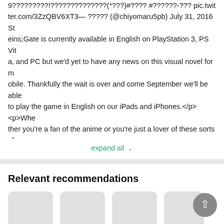9?????????!??????????????(*???)#???? #??????-??? pic.twitter.com/3ZzQBV6XT3— ????? (@chiyomaru5pb) July 31, 2016 Steins;Gate is currently available in English on PlayStation 3, PS Vita, and PC but we'd yet to have any news on this visual novel for mobile. Thankfully the wait is over and come September we'll be able to play the game in English on our iPads and iPhones.</p><p>Whether you're a fan of the anime or you're just a lover of these sorts of gamebooks/visual novels, Steins;Gate is one to keep on your radar.</p><p>We'll be sure to update this article when more news comes about.</p><p>[Source]</p>
expand all ∨
Relevant recommendations
[Figure (other): Four gray rounded-rectangle placeholder cards for recommended content items]